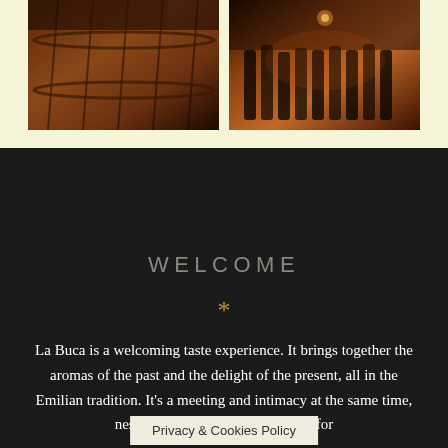[Figure (photo): Two photographs side by side on a cream/light yellow background. Left photo: dark warm-toned image of a wine barrel. Right photo: warm amber-toned image of wine bottles in a cellar or bar.]
WELCOME
*
La Buca is a welcoming taste experience. It brings together the aromas of the past and the delight of the present, all in the Emilian tradition. It's a meeting and intimacy at the same time, nestled next to the flow o... aiting for
Privacy & Cookies Policy